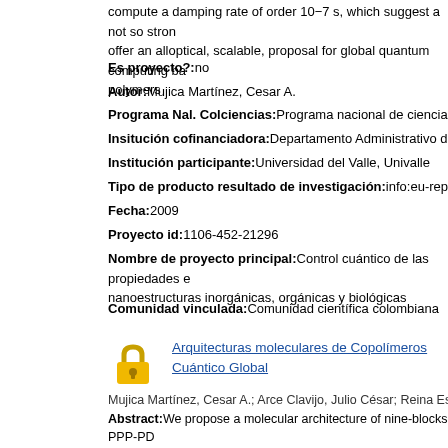compute a damping rate of order 10−7 s, which suggest a not so strong...offer an alloptical, scalable, proposal for global quantum computing based on...polymers
Es proyecto?:no
Autor:Mujica Martínez, Cesar A.
Programa Nal. Colciencias:Programa nacional de ciencias básicas
Insitución cofinanciadora:Departamento Administrativo de Ciencia, T...
Institución participante:Universidad del Valle, Univalle
Tipo de producto resultado de investigación:info:eu-repo/semantic...
Fecha:2009
Proyecto id:1106-452-21296
Nombre de proyecto principal:Control cuántico de las propiedades e... nanoestructuras inorgánicas, orgánicas y biológicas
Comunidad vinculada:Comunidad científica colombiana
[Figure (other): Lock/padlock icon indicating restricted access]
Arquitecturas moleculares de Copolímeros... Cuántico Global
Mujica Martínez, Cesar A.; Arce Clavijo, Julio César; Reina Estupiñán,...
Abstract:We propose a molecular architecture of nine-blocks PPP-PD... PPP (where each block contains various oligomeric units) as a hardwa... spin-barrier scheme for global quantum computation. The physical ca... through the Coulomb interaction. The barrier mechanism uses a third s...